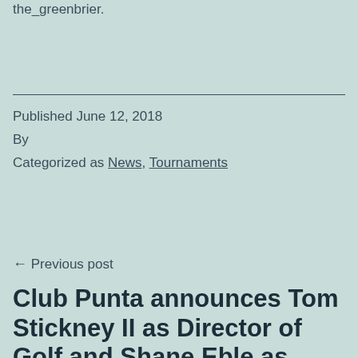the_greenbrier.
Published June 12, 2018
By
Categorized as News, Tournaments
← Previous post
Club Punta announces Tom Stickney II as Director of Golf and Shane Eble as Director of Agronomy